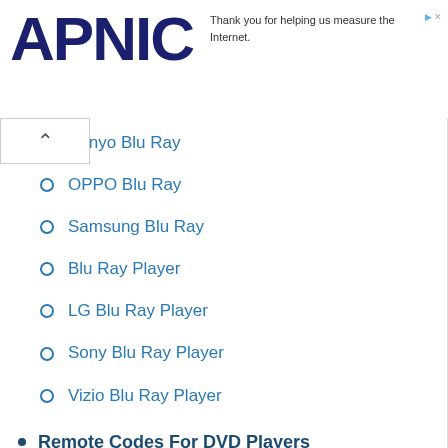APNIC — Thank you for helping us measure the Internet.
Sanyo Blu Ray
OPPO Blu Ray
Samsung Blu Ray
Blu Ray Player
LG Blu Ray Player
Sony Blu Ray Player
Vizio Blu Ray Player
Remote Codes For DVD Players
Insignia DVD Player